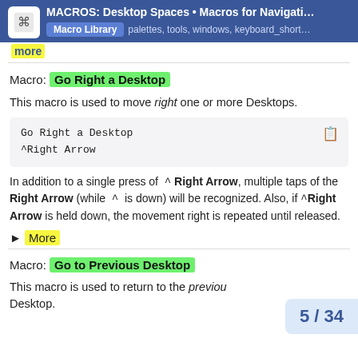MACROS: Desktop Spaces • Macros for Navigati… | Macro Library  palettes, tools, windows, keyboard_short…
▶ more
Macro: Go Right a Desktop
This macro is used to move right one or more Desktops.
Go Right a Desktop
^Right Arrow
In addition to a single press of ^ Right Arrow, multiple taps of the Right Arrow (while ^ is down) will be recognized. Also, if ^Right Arrow is held down, the movement right is repeated until released.
► More
Macro: Go to Previous Desktop
This macro is used to return to the previous Desktop.
5 / 34